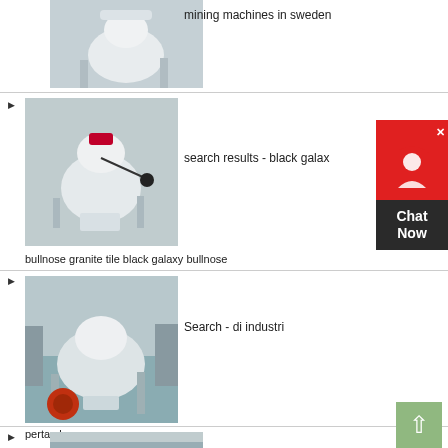[Figure (photo): Industrial mining machine (cone crusher), white, partially visible at top of page]
mining machines in sweden
[Figure (photo): Industrial cone crusher machine, white with red band, in factory setting]
search results - black galax
bullnose granite tile black galaxy bullnose
[Figure (photo): Industrial cone crusher/mining machine, white with red wheel, in factory]
Search - di industri
pertambangan
[Figure (photo): Industrial mining machine, partially visible at bottom of page]
[Figure (other): Chat Now widget with red header, person icon, and dark label area]
[Figure (other): Scroll to top button, green background with up arrow]